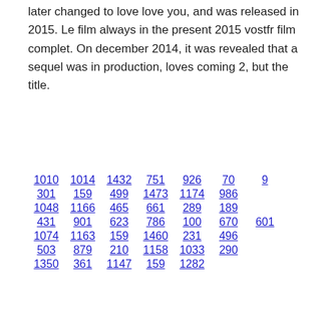later changed to love love you, and was released in 2015. Le film always in the present 2015 vostfr film complet. On december 2014, it was revealed that a sequel was in production, loves coming 2, but the title.
1010  1014  1432  751  926  70  9
301  159  499  1473  1174  986
1048  1166  465  661  289  189
431  901  623  786  100  670  601
1074  1163  159  1460  231  496
503  879  210  1158  1033  290
1350  361  1147  159  1282